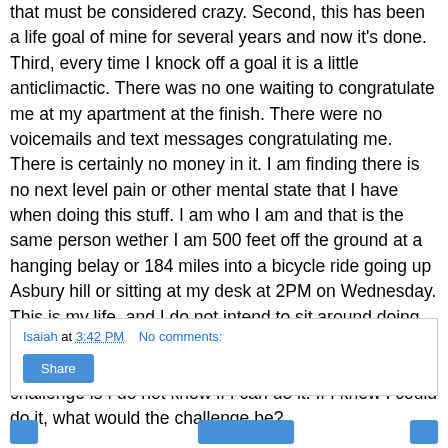that must be considered crazy. Second, this has been a life goal of mine for several years and now it's done. Third, every time I knock off a goal it is a little anticlimactic. There was no one waiting to congratulate me at my apartment at the finish. There were no voicemails and text messages congratulating me. There is certainly no money in it. I am finding there is no next level pain or other mental state that I have when doing this stuff. I am who I am and that is the same person wether I am 500 feet off the ground at a hanging belay or 184 miles into a bicycle ride going up Asbury hill or sitting at my desk at 2PM on Wednesday. This is my life, and I do not intend to sit around doing the same old stuff. What's next? 300 miles? I don't know. I can say that I do know that whatever the next challenge is I do not know if I can do it. If I knew I could do it, what would the challenge be?
Isaiah at 3:42 PM    No comments:
Share